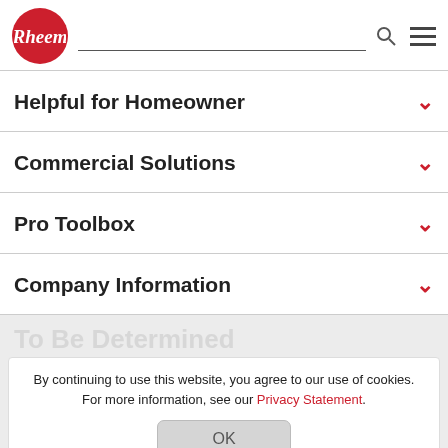[Figure (logo): Rheem logo: red circle with white italic Rheem text]
Helpful for Homeowner
Commercial Solutions
Pro Toolbox
Company Information
By continuing to use this website, you agree to our use of cookies. For more information, see our Privacy Statement.
OK
[Figure (screenshot): Faint social media icons and app store badges at bottom of page]